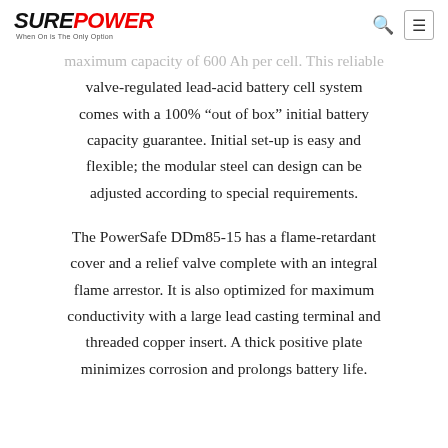SUREPOWER — When On is The Only Option
maximum capacity of 600 Ah per cell. This reliable valve-regulated lead-acid battery cell system comes with a 100% “out of box” initial battery capacity guarantee. Initial set-up is easy and flexible; the modular steel can design can be adjusted according to special requirements.
The PowerSafe DDm85-15 has a flame-retardant cover and a relief valve complete with an integral flame arrestor. It is also optimized for maximum conductivity with a large lead casting terminal and threaded copper insert. A thick positive plate minimizes corrosion and prolongs battery life.